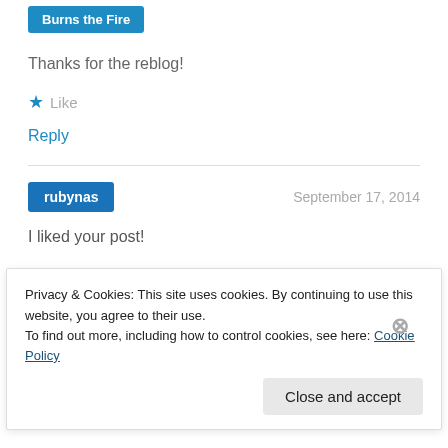Burns the Fire
Thanks for the reblog!
★ Like
Reply
rubynas   September 17, 2014
I liked your post!
Privacy & Cookies: This site uses cookies. By continuing to use this website, you agree to their use.
To find out more, including how to control cookies, see here: Cookie Policy
Close and accept